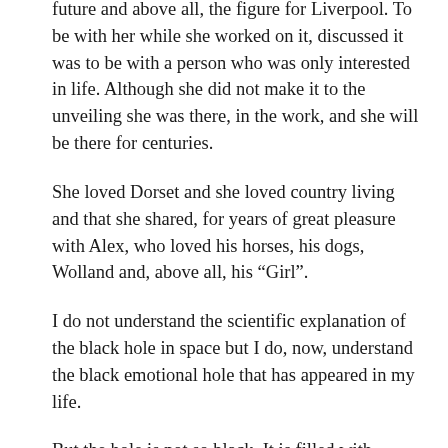future and above all, the figure for Liverpool. To be with her while she worked on it, discussed it was to be with a person who was only interested in life. Although she did not make it to the unveiling she was there, in the work, and she will be there for centuries.
She loved Dorset and she loved country living and that she shared, for years of great pleasure with Alex, who loved his horses, his dogs, Wolland and, above all, his “Girl”.
I do not understand the scientific explanation of the black hole in space but I do, now, understand the black emotional hole that has appeared in my life.
But the hole is not so black. It is filled with colours and shapes, with running men and beautiful animals and above all it echoes with that wonderful bark and hoot of laughter that engulfed you when Lis was at her best and